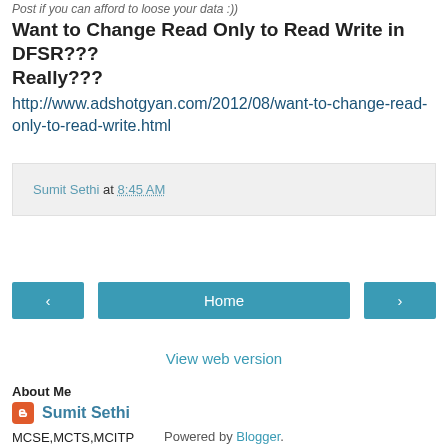Post if you can afford to loose your data :))
Want to Change Read Only to Read Write in DFSR??? Really??? http://www.adshotgyan.com/2012/08/want-to-change-read-only-to-read-write.html
Sumit Sethi at 8:45 AM
[Figure (screenshot): Navigation buttons: left arrow, Home, right arrow]
View web version
About Me
Sumit Sethi
MCSE,MCTS,MCITP
View my complete profile
Powered by Blogger.